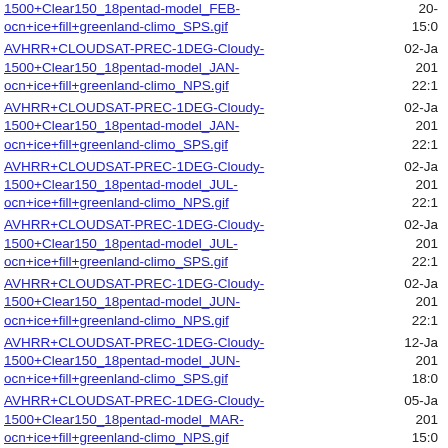1500+Clear150_18pentad-model_FEB-ocn+ice+fill+greenland-climo_SPS.gif | 20- 15:0
AVHRR+CLOUDSAT-PREC-1DEG-Cloudy-1500+Clear150_18pentad-model_JAN-ocn+ice+fill+greenland-climo_NPS.gif | 02-Jan-201 22:1
AVHRR+CLOUDSAT-PREC-1DEG-Cloudy-1500+Clear150_18pentad-model_JAN-ocn+ice+fill+greenland-climo_SPS.gif | 02-Jan-201 22:1
AVHRR+CLOUDSAT-PREC-1DEG-Cloudy-1500+Clear150_18pentad-model_JUL-ocn+ice+fill+greenland-climo_NPS.gif | 02-Jan-201 22:1
AVHRR+CLOUDSAT-PREC-1DEG-Cloudy-1500+Clear150_18pentad-model_JUL-ocn+ice+fill+greenland-climo_SPS.gif | 02-Jan-201 22:1
AVHRR+CLOUDSAT-PREC-1DEG-Cloudy-1500+Clear150_18pentad-model_JUN-ocn+ice+fill+greenland-climo_NPS.gif | 02-Jan-201 22:1
AVHRR+CLOUDSAT-PREC-1DEG-Cloudy-1500+Clear150_18pentad-model_JUN-ocn+ice+fill+greenland-climo_SPS.gif | 12-Jan-201 18:0
AVHRR+CLOUDSAT-PREC-1DEG-Cloudy-1500+Clear150_18pentad-model_MAR-ocn+ice+fill+greenland-climo_NPS.gif | 05-Jan-201 15:0
AVHRR+CLOUDSAT-PREC-1DEG-Cloudy- | 05-Ja